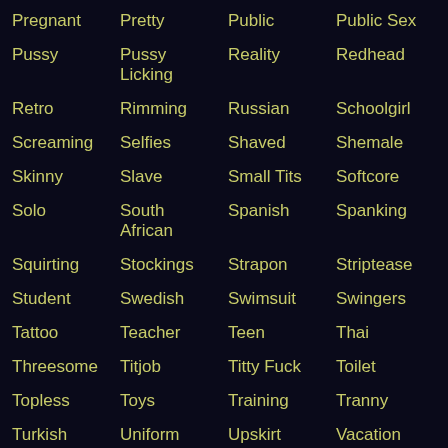Pregnant
Pretty
Public
Public Sex
Pussy
Pussy Licking
Reality
Redhead
Retro
Rimming
Russian
Schoolgirl
Screaming
Selfies
Shaved
Shemale
Skinny
Slave
Small Tits
Softcore
Solo
South African
Spanish
Spanking
Squirting
Stockings
Strapon
Striptease
Student
Swedish
Swimsuit
Swingers
Tattoo
Teacher
Teen
Thai
Threesome
Titjob
Titty Fuck
Toilet
Topless
Toys
Training
Tranny
Turkish
Uniform
Upskirt
Vacation
Vagina
Vietnamese
Vintage
Voyeur
Webcam
Whore
Wife
Wife Swap